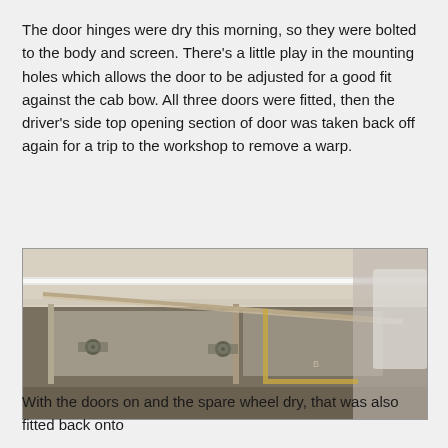The door hinges were dry this morning, so they were bolted to the body and screen. There's a little play in the mounting holes which allows the door to be adjusted for a good fit against the cab bow. All three doors were fitted, then the driver's side top opening section of door was taken back off again for a trip to the workshop to remove a warp.
[Figure (photo): Close-up photograph of door hinges and frame components showing metal rails, hinges, and cab structure in a workshop setting.]
With the doors on and the spare wheel dry, that was also fitted back onto